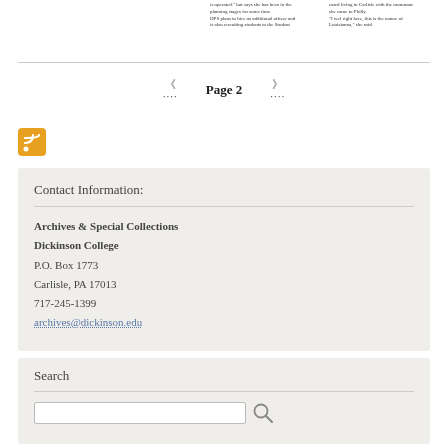[Figure (other): Small newspaper article snippet columns at top of page]
Page 2
[Figure (other): RSS feed icon (orange square with white wifi/feed symbol)]
Contact Information:
Archives & Special Collections
Dickinson College
P.O. Box 1773
Carlisle, PA 17013
717-245-1399
archives@dickinson.edu
Search